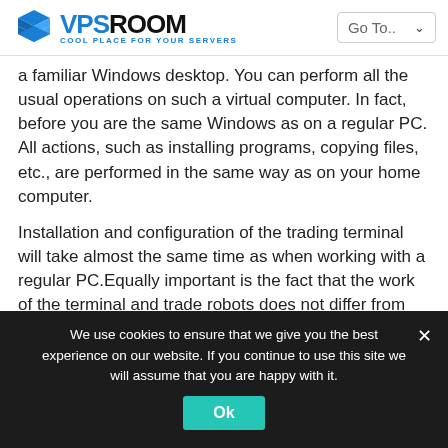VPSROOM - Cool Place For Your Servers
a familiar Windows desktop. You can perform all the usual operations on such a virtual computer. In fact, before you are the same Windows as on a regular PC. All actions, such as installing programs, copying files, etc., are performed in the same way as on your home computer.
Installation and configuration of the trading terminal will take almost the same time as when working with a regular PC.Equally important is the fact that the work of the terminal and trade robots does not differ from the “local” version.
For example, to install the MetaTrader 4 terminal, you need to visit your broker’s website (or the MetaQuotes website
We use cookies to ensure that we give you the best experience on our website. If you continue to use this site we will assume that you are happy with it.